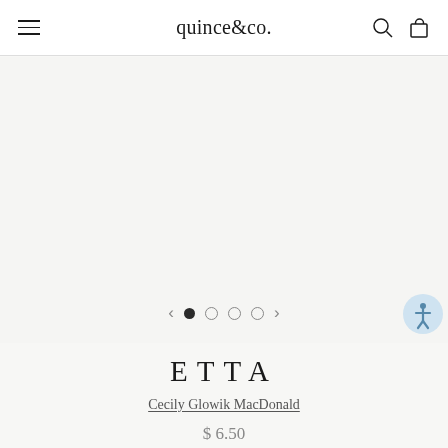quince&co.
[Figure (screenshot): Product image carousel area showing a light gray background with navigation arrows and pagination dots. Four dots shown, first dot filled/active, others empty circles.]
ETTA
Cecily Glowik MacDonald
$ 6.50